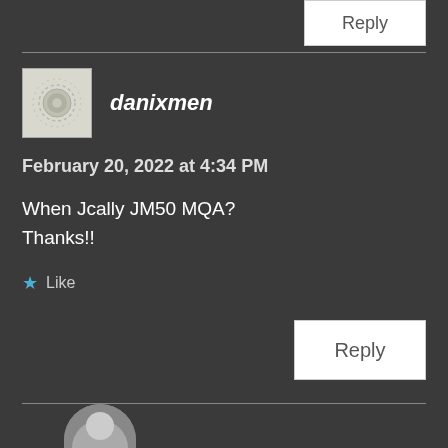[Figure (screenshot): Partial Reply button at top right, cut off]
danixmen
February 20, 2022 at 4:34 PM
When Jcally JM50 MQA?
Thanks!!
Like
Reply
[Figure (photo): Partial avatar of another commenter at bottom]